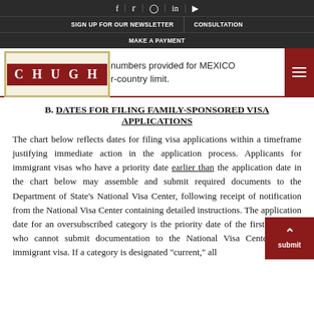SIGN UP FOR OUR NEWSLETTER | CONSULTATION | MAKE A PAYMENT
[Figure (logo): CHUGH law firm logo: red rectangle with white bold spaced letters C H U G H, inside a cream/gold bordered box]
numbers provided for MEXICO per-country limit.
B. DATES FOR FILING FAMILY-SPONSORED VISA APPLICATIONS
The chart below reflects dates for filing visa applications within a timeframe justifying immediate action in the application process. Applicants for immigrant visas who have a priority date earlier than the application date in the chart below may assemble and submit required documents to the Department of State's National Visa Center, following receipt of notification from the National Visa Center containing detailed instructions. The application date for an oversubscribed category is the priority date of the first applicant who cannot submit documentation to the National Visa Center for an immigrant visa. If a category is designated "current," all